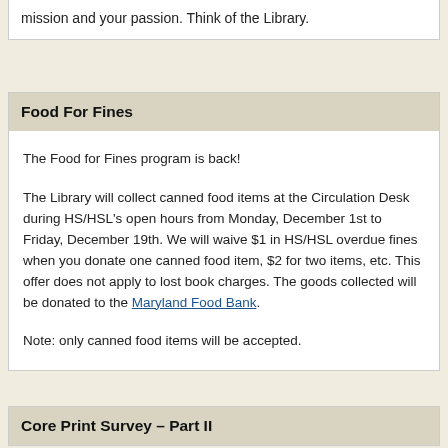mission and your passion. Think of the Library.
Food For Fines
The Food for Fines program is back!

The Library will collect canned food items at the Circulation Desk during HS/HSL's open hours from Monday, December 1st to Friday, December 19th. We will waive $1 in HS/HSL overdue fines when you donate one canned food item, $2 for two items, etc. This offer does not apply to lost book charges. The goods collected will be donated to the Maryland Food Bank.

Note: only canned food items will be accepted.
Core Print Survey – Part II